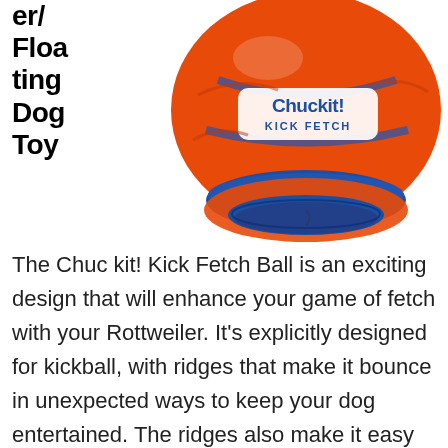er/ Floating Dog Toy
[Figure (photo): Chuckit! Kick Fetch Ball - orange and blue dog toy ball with 'Chuckit! KICK FETCH' logo, shown at an angle displaying the flat bottom and ridged surface]
The Chuckit! Kick Fetch Ball is an exciting design that will enhance your game of fetch with your Rottweiler. It's explicitly designed for kickball, with ridges that make it bounce in unexpected ways to keep your dog entertained. The ridges also make it easy to pick up and play tug-of-war with.